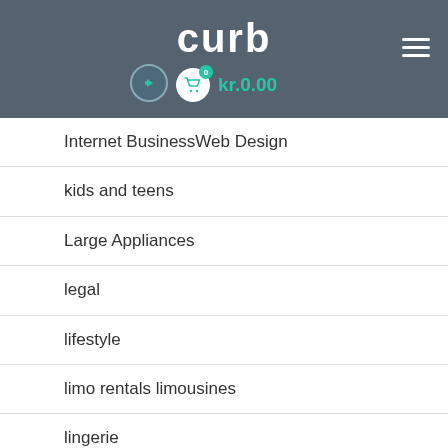curb - kr.0.00
Internet BusinessWeb Design
kids and teens
Large Appliances
legal
lifestyle
limo rentals limousines
lingerie
massage
medicine
memory training